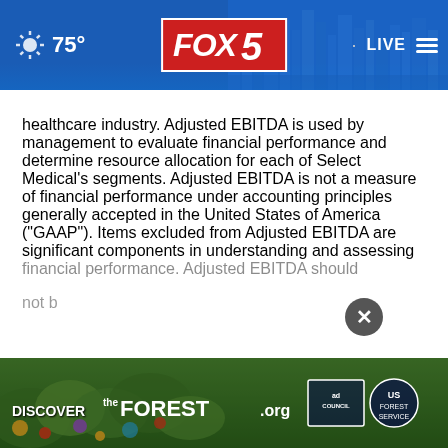75° FOX 5 LIVE
healthcare industry. Adjusted EBITDA is used by management to evaluate financial performance and determine resource allocation for each of Select Medical's segments. Adjusted EBITDA is not a measure of financial performance under accounting principles generally accepted in the United States of America ("GAAP"). Items excluded from Adjusted EBITDA are significant components in understanding and assessing financial performance. Adjusted EBITDA should not b
[Figure (screenshot): FOX 5 news website header bar showing weather (75°), FOX 5 logo in red box, LIVE badge, and city skyline background]
[Figure (screenshot): Discover the Forest advertisement banner at bottom of page with forest imagery, DISCOVER the FOREST.org text, Ad Council and US Forest Service badges]